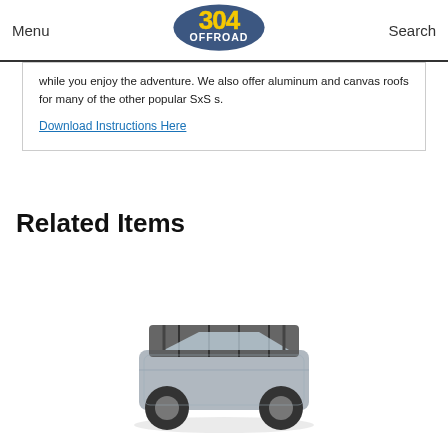Menu | 304 OFFROAD | Search
while you enjoy the adventure. We also offer aluminum and canvas roofs for many of the other popular SxS s.
Download Instructions Here
Related Items
[Figure (photo): A side-by-side (SxS) off-road vehicle with an aluminum roof rack installed, shown from a front-angled view.]